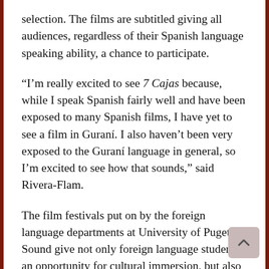selection. The films are subtitled giving all audiences, regardless of their Spanish language speaking ability, a chance to participate.
“I’m really excited to see 7 Cajas because, while I speak Spanish fairly well and have been exposed to many Spanish films, I have yet to see a film in Guraní. I also haven’t been very exposed to the Guraní language in general, so I’m excited to see how that sounds,” said Rivera-Flam.
The film festivals put on by the foreign language departments at University of Puget Sound give not only foreign language students an opportunity for cultural immersion, but also give students interested in film, politics, etc. a chance to explore